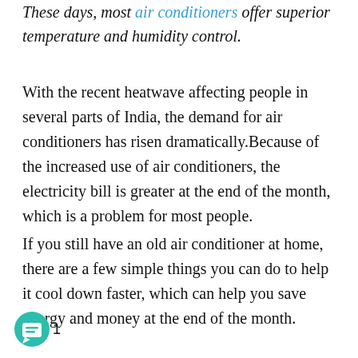These days, most air conditioners offer superior temperature and humidity control.
With the recent heatwave affecting people in several parts of India, the demand for air conditioners has risen dramatically.Because of the increased use of air conditioners, the electricity bill is greater at the end of the month, which is a problem for most people.
If you still have an old air conditioner at home, there are a few simple things you can do to help it cool down faster, which can help you save energy and money at the end of the month.
[Figure (illustration): Teal circular chat/comment widget icon with a white speech bubble containing horizontal lines, followed by the number 1]